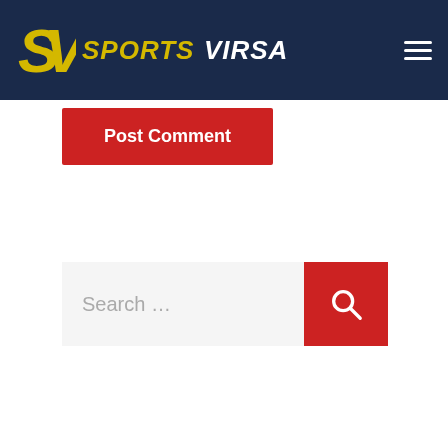Sports Virsa
Post Comment
[Figure (screenshot): Search bar with text 'Search ...' and a red search button with magnifying glass icon]